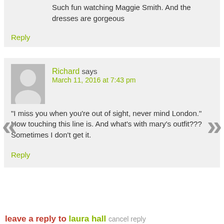Such fun watching Maggie Smith. And the dresses are gorgeous
Reply
Richard says
March 11, 2016 at 7:43 pm
“I miss you when you’re out of sight, never mind London.” How touching this line is. And what’s with mary’s outfit??? Sometimes I don’t get it.
Reply
leave a reply to laura hall cancel reply